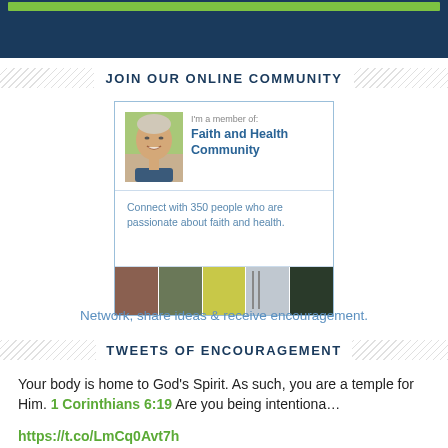[Figure (other): Dark navy blue top banner with green bar at top]
JOIN OUR ONLINE COMMUNITY
[Figure (screenshot): Faith and Health Community membership card with profile photo of smiling man, text 'I'm a member of: Faith and Health Community', description 'Connect with 350 people who are passionate about faith and health.' and strip of 5 community member photos at the bottom]
Network, share ideas & receive encouragement.
TWEETS OF ENCOURAGEMENT
Your body is home to God's Spirit. As such, you are a temple for Him. 1 Corinthians 6:19 Are you being intentiona…
https://t.co/LmCq0Avt7h